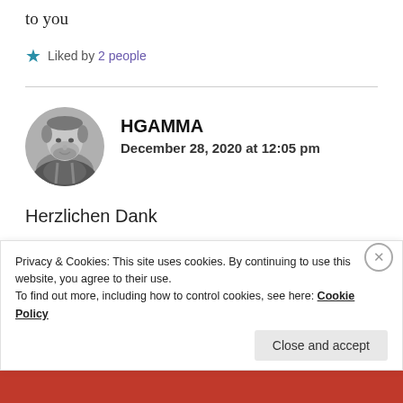to you
★ Liked by 2 people
HGAMMA
December 28, 2020 at 12:05 pm
Herzlichen Dank
Privacy & Cookies: This site uses cookies. By continuing to use this website, you agree to their use.
To find out more, including how to control cookies, see here: Cookie Policy
Close and accept